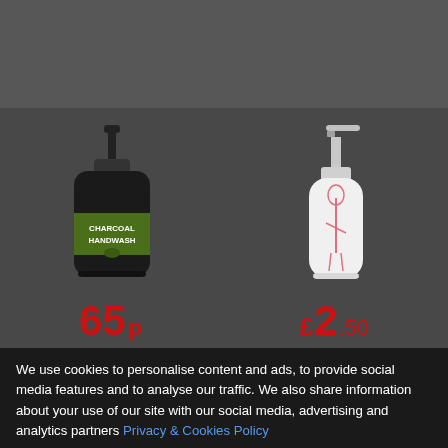[Figure (photo): Dark grey top bar area, no visible content]
[Figure (photo): Two hand wash pump bottles displayed on dark background. Left: Black charcoal handwash bottle with green label reading CHARCOAL HANDWASH. Right: White ceramic-style pump bottle with flamingo design.]
65p
£2.50
We use cookies to personalise content and ads, to provide social media features and to analyse our traffic. We also share information about your use of our site with our social media, advertising and analytics partners Privacy & Cookies Policy